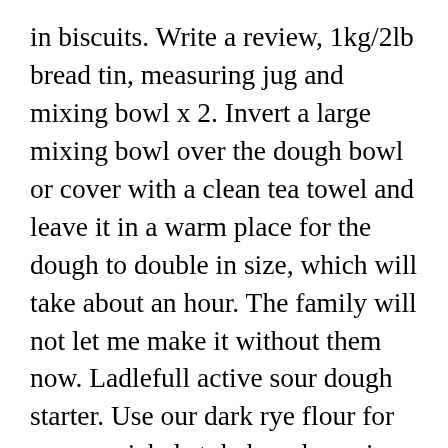in biscuits. Write a review, 1kg/2lb bread tin, measuring jug and mixing bowl x 2. Invert a large mixing bowl over the dough bowl or cover with a clean tea towel and leave it in a warm place for the dough to double in size, which will take about an hour. The family will not let me make it without them now. Ladlefull active sour dough starter. Use our dark rye flour for pumpernickel style bread or mix with strong white flour ... I'll take you through the differences below, but first... Is Rye Flour Gluten-Free? caraway seeds, water, cider vinegar, dark rye flour, sugar, instant yeast and 3 more Baguette (Bread Machine Recipe) L'Antro dell'Alchimista sugar, yeast, salt, water, flour, bre... but flour. RYE FLOUR S...